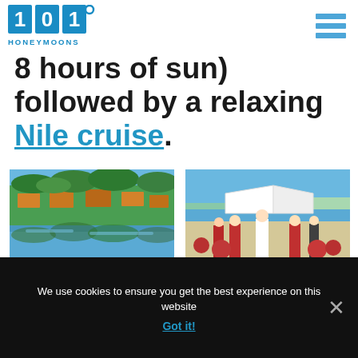[Figure (logo): 101 Honeymoons logo with blue numbered blocks and text]
8 hours of sun) followed by a relaxing Nile cruise.
[Figure (photo): Tropical resort pool surrounded by palm trees]
[Figure (photo): Beach wedding ceremony with couple and guests in red]
We use cookies to ensure you get the best experience on this website
Got it!